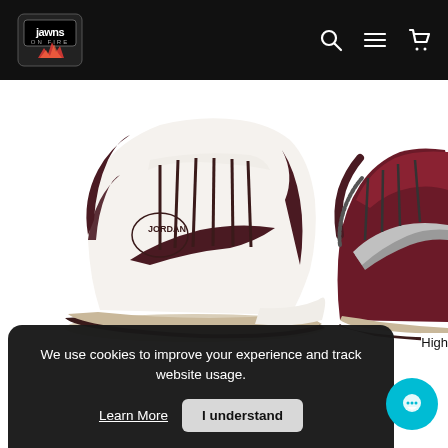Jawns on Fire - navigation header with logo, search, menu, and cart icons
[Figure (photo): Two Air Jordan 1 High sneakers shown side by side — left shoe is white/cream with dark maroon Swoosh and laces, shown from lateral side profile; right shoe is dark maroon/burgundy with silver Swoosh, shown from medial side, partially cropped]
We use cookies to improve your experience and track website usage.
Learn More
I understand